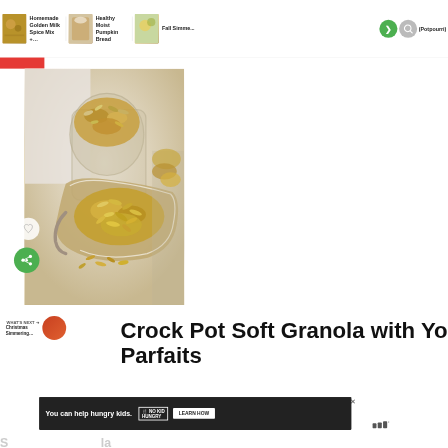Homemade Golden Milk Spice Mix + ... | Healthy Moist Pumpkin Bread | Fall Simme...c...(Potpourri)
[Figure (photo): Close-up photo of granola oats in a metal scoop and glass jar on a light gray surface with a white cloth in the background]
[Figure (other): Heart (favorite) button - white circle with heart icon]
[Figure (other): Share button - green circle with share icon]
[Figure (other): What's Next promo bar showing Christmas Simmering... with a food thumbnail]
Crock Pot Soft Granola with Yogurt Parfaits
[Figure (other): Advertisement banner: You can help hungry kids. NO KID HUNGRY. LEARN HOW]
S...la